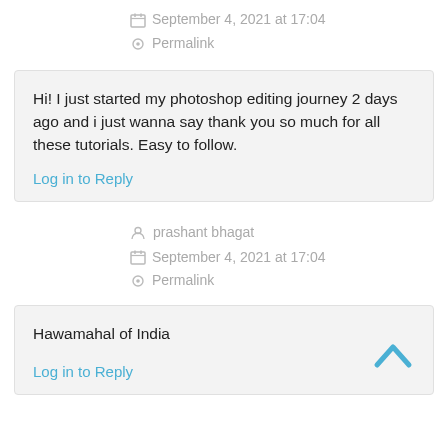September 4, 2021 at 17:04
Permalink
Hi! I just started my photoshop editing journey 2 days ago and i just wanna say thank you so much for all these tutorials. Easy to follow.
Log in to Reply
prashant bhagat
September 4, 2021 at 17:04
Permalink
Hawamahal of India
Log in to Reply